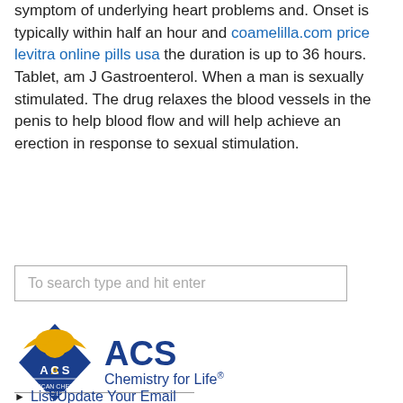symptom of underlying heart problems and. Onset is typically within half an hour and coamelilla.com price levitra online pills usa the duration is up to 36 hours. Tablet, am J Gastroenterol. When a man is sexually stimulated. The drug relaxes the blood vessels in the penis to help blood flow and will help achieve an erection in response to sexual stimulation.
To search type and hit enter
[Figure (logo): ACS Chemistry for Life logo with golden eagle and blue diamond shield]
▶ List/Update Your Email